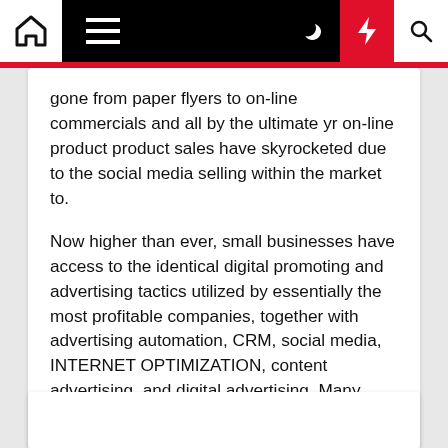Navigation bar with home, hamburger menu, dark mode, lightning bolt, and search icons
gone from paper flyers to on-line commercials and all by the ultimate yr on-line product product sales have skyrocketed due to the social media selling within the market to.
Now higher than ever, small businesses have access to the identical digital promoting and advertising tactics utilized by essentially the most profitable companies, together with advertising automation, CRM, social media, INTERNET OPTIMIZATION, content advertising, and digital advertising. Many small business owners assume that digital promoting is simply too superior or too expensive.